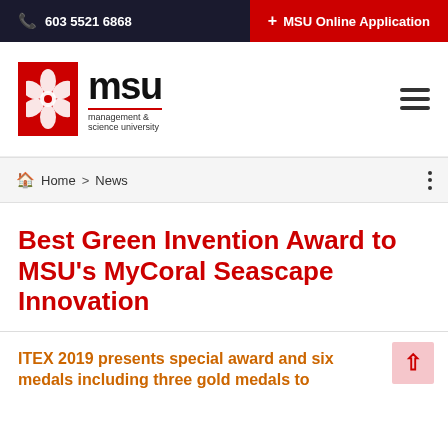603 5521 6868 | + MSU Online Application
[Figure (logo): MSU Management & Science University logo — red square with hibiscus flower, bold 'msu' text, tagline 'management & science university']
Home > News
Best Green Invention Award to MSU's MyCoral Seascape Innovation
ITEX 2019 presents special award and six medals including three gold medals to